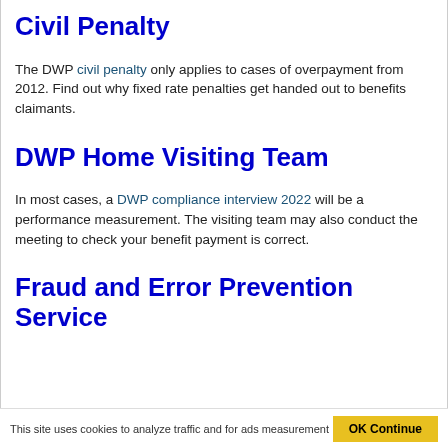Civil Penalty
The DWP civil penalty only applies to cases of overpayment from 2012. Find out why fixed rate penalties get handed out to benefits claimants.
DWP Home Visiting Team
In most cases, a DWP compliance interview 2022 will be a performance measurement. The visiting team may also conduct the meeting to check your benefit payment is correct.
Fraud and Error Prevention Service
This site uses cookies to analyze traffic and for ads measurement OK Continue